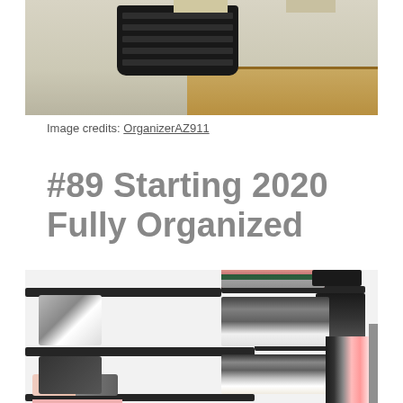[Figure (photo): Top portion of a room showing a dark wicker basket on a desk or table surface with a wooden tabletop visible on the right side.]
Image credits: OrganizerAZ911
#89 Starting 2020 Fully Organized
[Figure (photo): A well-organized closet with dark floating shelves holding folded clothes (colorful sweaters, dark clothing), multiple pairs of shoes, and a clothing rack with hanging garments on the right side.]